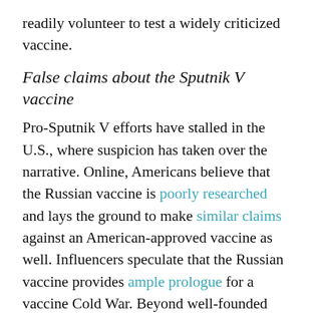readily volunteer to test a widely criticized vaccine.
False claims about the Sputnik V vaccine
Pro-Sputnik V efforts have stalled in the U.S., where suspicion has taken over the narrative. Online, Americans believe that the Russian vaccine is poorly researched and lays the ground to make similar claims against an American-approved vaccine as well. Influencers speculate that the Russian vaccine provides ample prologue for a vaccine Cold War. Beyond well-founded skepticism, there has been disinformation surrounding the vaccine, like an article making the erroneous claim that Russia President Vladimir Putin's daughter died after taking the Sputnik V vaccine. The article was shared nearly 11,000 times on Facebook alone. The story has been debunked by Snopes,
Speculation that the US will rush a vaccine,